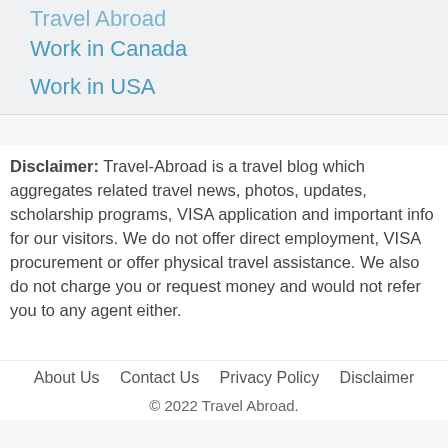Travel Abroad (partial)
Work in Canada
Work in USA
Disclaimer: Travel-Abroad is a travel blog which aggregates related travel news, photos, updates, scholarship programs, VISA application and important info for our visitors. We do not offer direct employment, VISA procurement or offer physical travel assistance. We also do not charge you or request money and would not refer you to any agent either.
About Us   Contact Us   Privacy Policy   Disclaimer
© 2022 Travel Abroad.